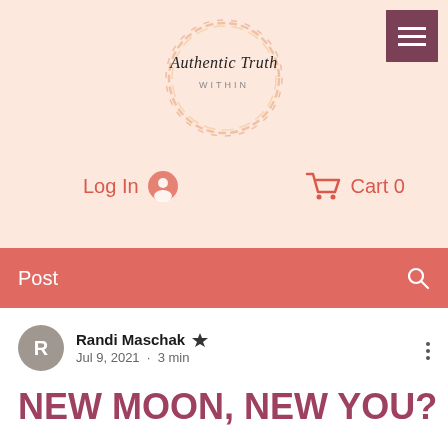[Figure (logo): Authentic Truth Within logo with circular brush stroke design in gold/orange tones and script text]
Log In  Cart 0
Post
Randi Maschak  Jul 9, 2021 · 3 min
NEW MOON, NEW YOU?